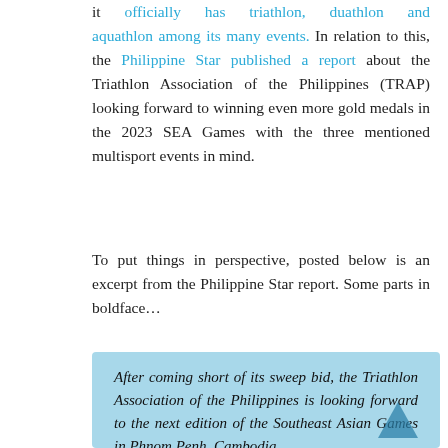it officially has triathlon, duathlon and aquathlon among its many events. In relation to this, the Philippine Star published a report about the Triathlon Association of the Philippines (TRAP) looking forward to winning even more gold medals in the 2023 SEA Games with the three mentioned multisport events in mind.
To put things in perspective, posted below is an excerpt from the Philippine Star report. Some parts in boldface...
After coming short of its sweep bid, the Triathlon Association of the Philippines is looking forward to the next edition of the Southeast Asian Games in Phnom Penh, Cambodia